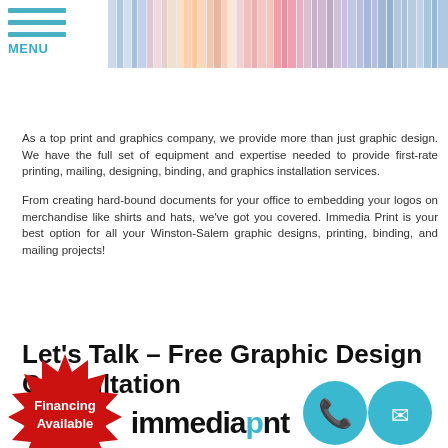[Figure (photo): Colorful hanging ribbons or strips in a print shop banner image at the top of the page]
MENU
As a top print and graphics company, we provide more than just graphic design. We have the full set of equipment and expertise needed to provide first-rate printing, mailing, designing, binding, and graphics installation services.
From creating hard-bound documents for your office to embedding your logos on merchandise like shirts and hats, we've got you covered. Immedia Print is your best option for all your Winston-Salem graphic designs, printing, binding, and mailing projects!
Let's Talk – Free Graphic Design Consultation
[Figure (infographic): Red starburst badge with white text reading 'Financing Available']
[Figure (logo): Immedia Print logo with phone and mail icons visible at bottom of page]